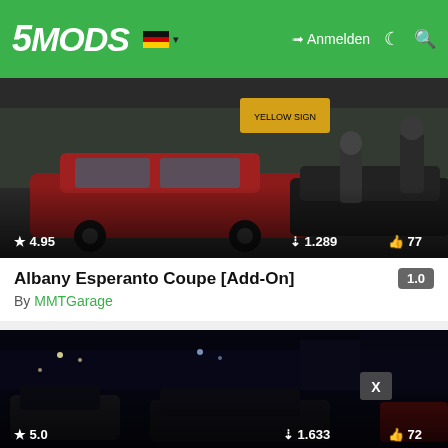5MODS — Anmelden
[Figure (screenshot): GTA mod screenshot showing a red Albany Esperanto Coupe parked on a street with two characters standing nearby. Rating: 4.95 stars, 1.289 downloads, 77 likes.]
Albany Esperanto Coupe [Add-On]
By MMTGarage
[Figure (screenshot): GTA mod screenshot showing a dark nighttime scene with vehicles. Rating: 5.0 stars, 1.633 downloads, 72 likes.]